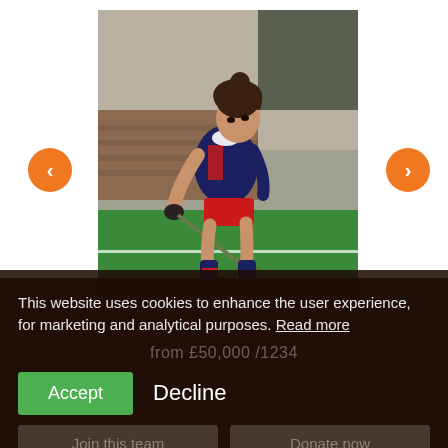[Figure (photo): A young female field hockey player in a navy and red uniform, bent forward in an athletic stance, holding a hockey stick near a ball on a green turf field. She has curly dark hair pulled back.]
This website uses cookies to enhance the user experience, for marketing and analytical purposes. Read more
from £50,000 /1234
Accept
Decline
Join this team
Donate now